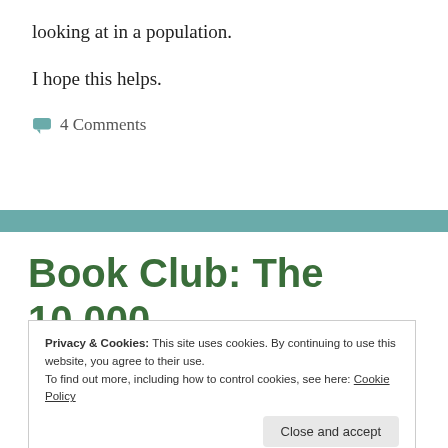looking at in a population.
I hope this helps.
4 Comments
Book Club: The 10,000 Year Explosion pt 7:
Privacy & Cookies: This site uses cookies. By continuing to use this website, you agree to their use.
To find out more, including how to control cookies, see here: Cookie Policy
Close and accept
evolution, genetics, Harpending, HBD, intelligence, Jews,